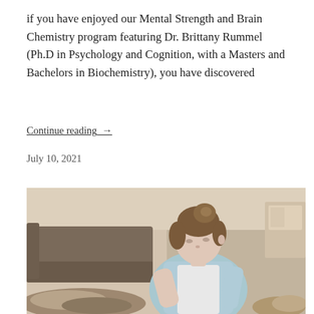if you have enjoyed our Mental Strength and Brain Chemistry program featuring Dr. Brittany Rummel (Ph.D in Psychology and Cognition, with a Masters and Bachelors in Biochemistry), you have discovered
Continue reading  →
July 10, 2021
[Figure (photo): A young girl with brown hair in a bun, wearing a light blue top, leaning over and writing or drawing something. The background shows a bedroom with a couch and unmade bed, slightly blurred.]